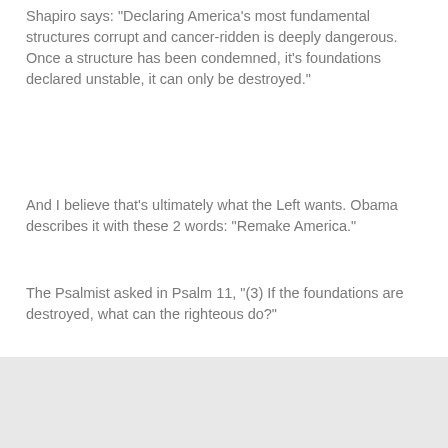Shapiro says: "Declaring America's most fundamental structures corrupt and cancer-ridden is deeply dangerous. Once a structure has been condemned, it's foundations declared unstable, it can only be destroyed."
And I believe that's ultimately what the Left wants. Obama describes it with these 2 words: "Remake America."
The Psalmist asked in Psalm 11, "(3) If the foundations are destroyed, what can the righteous do?"
He answers his own question: Don't run and hide. Stand firm. Be faithful. Trust God. The Lord is on His throne.
Be Informed. Be Vigilant. Be Discerning. Be Fearless. Be Prayerful. Be Peaceful.